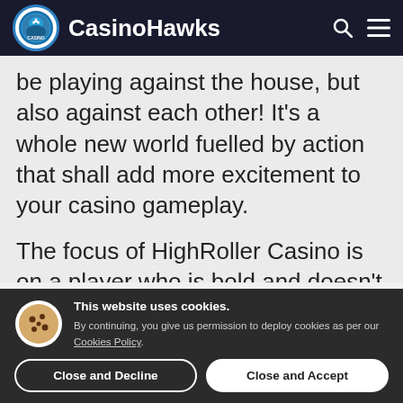CasinoHawks
be playing against the house, but also against each other! It's a whole new world fuelled by action that shall add more excitement to your casino gameplay.
The focus of HighRoller Casino is on a player who is bold and doesn't mind taking a few risks in order to progress. But those who are strict about their budget will love
This website uses cookies. By continuing, you give us permission to deploy cookies as per our Cookies Policy.